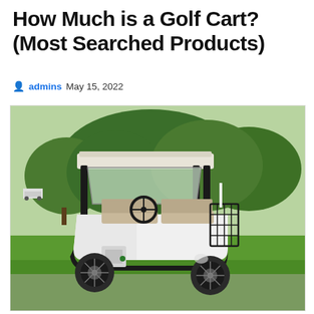How Much is a Golf Cart? (Most Searched Products)
admins   May 15, 2022
[Figure (photo): A white golf cart parked on a golf course with green grass and trees in the background. The cart has a white roof, black frame, windshield, steering wheel, and rear basket.]